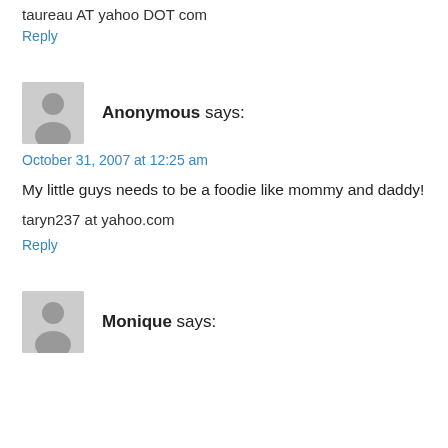taureau AT yahoo DOT com
Reply
[Figure (illustration): Gray avatar placeholder icon for Anonymous commenter]
Anonymous says:
October 31, 2007 at 12:25 am
My little guys needs to be a foodie like mommy and daddy!
taryn237 at yahoo.com
Reply
[Figure (illustration): Gray avatar placeholder icon for Monique commenter]
Monique says: